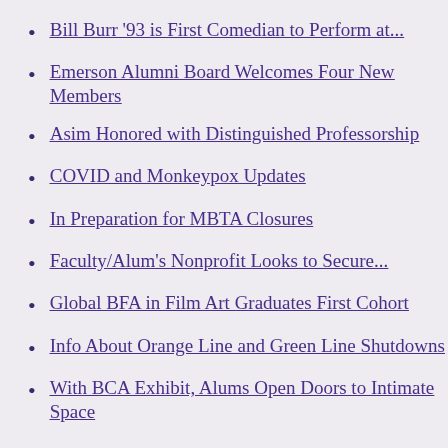Bill Burr '93 is First Comedian to Perform at...
Emerson Alumni Board Welcomes Four New Members
Asim Honored with Distinguished Professorship
COVID and Monkeypox Updates
In Preparation for MBTA Closures
Faculty/Alum's Nonprofit Looks to Secure...
Global BFA in Film Art Graduates First Cohort
Info About Orange Line and Green Line Shutdowns
With BCA Exhibit, Alums Open Doors to Intimate Space